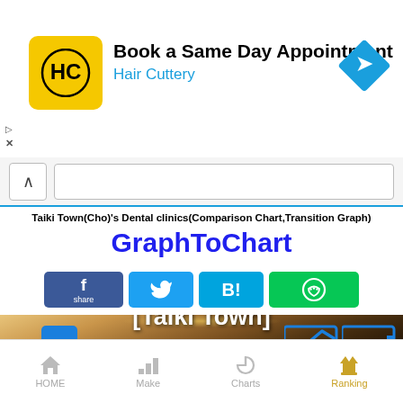[Figure (screenshot): Advertisement banner for Hair Cuttery with yellow logo, text 'Book a Same Day Appointment', blue subtitle 'Hair Cuttery', and blue diamond arrow icon on right]
Taiki Town(Cho)'s Dental clinics(Comparison Chart,Transition Graph)
GraphToChart
[Figure (screenshot): Hero image showing a couple in a field with blue chart icons on left and right sides, and text overlay '[Taiki Town]']
HOME  Make  Charts  Ranking